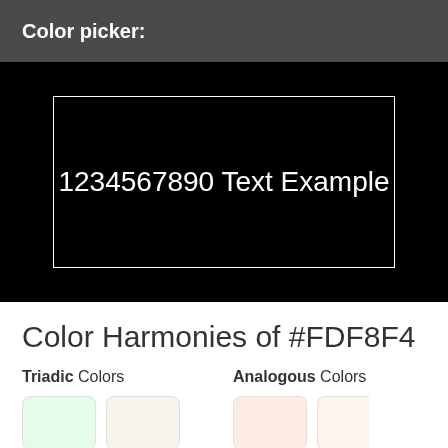Color picker:
[Figure (screenshot): Black canvas with white border rectangle containing white text '1234567890 Text Example']
Color Harmonies of #FDF8F4
Triadic Colors
Analogous Colors
[Figure (infographic): Color swatches showing Triadic colors #E4FDE8, #F8F4ED and Analogous colors #FDECE4, #FDF...]